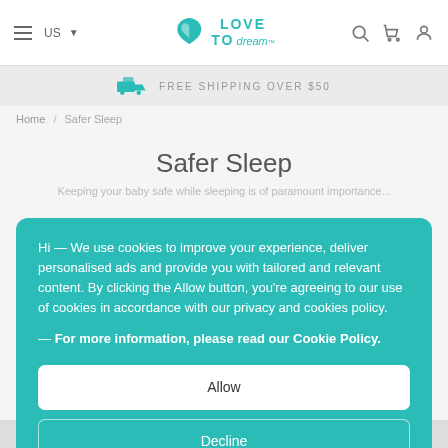Love To Dream - US
FREE SHIPPING OVER $50
Home / Safer Sleep
Safer Sleep
Keeping your baby safe while sleeping is of paramount importance...
Hi - We use cookies to improve your experience, deliver personalised ads and provide you with tailored and relevant content. By clicking the Allow button, you're agreeing to our use of cookies in accordance with our privacy and cookies policy.
- For more information, please read our Cookie Policy.
Allow
Decline